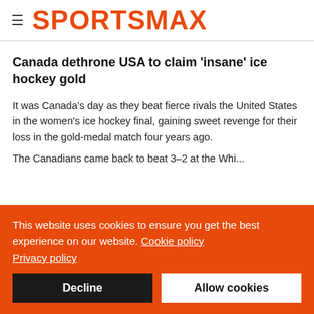SPORTSMAX
Canada dethrone USA to claim 'insane' ice hockey gold
It was Canada's day as they beat fierce rivals the United States in the women's ice hockey final, gaining sweet revenge for their loss in the gold-medal match four years ago.
This website uses cookies to ensure you get the best experience on our website. Cookie policy
Privacy policy
Decline
Allow cookies